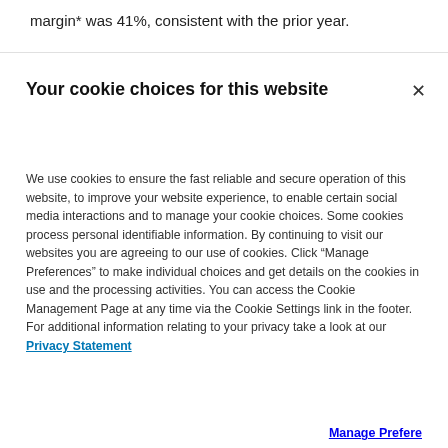margin* was 41%, consistent with the prior year.
Your cookie choices for this website
We use cookies to ensure the fast reliable and secure operation of this website, to improve your website experience, to enable certain social media interactions and to manage your cookie choices. Some cookies process personal identifiable information. By continuing to visit our websites you are agreeing to our use of cookies. Click “Manage Preferences” to make individual choices and get details on the cookies in use and the processing activities. You can access the Cookie Management Page at any time via the Cookie Settings link in the footer. For additional information relating to your privacy take a look at our Privacy Statement
Manage Preferences